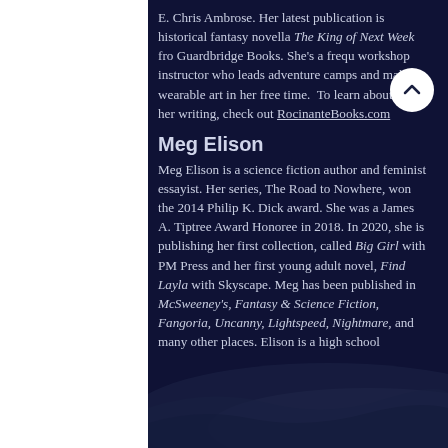E. Chris Ambrose. Her latest publication is historical fantasy novella The King of Next Week fro Guardbridge Books. She's a frequ workshop instructor who leads adventure camps and makes wearable art in her free time.  To learn about all of her writing, check out RocinanteBooks.com
Meg Elison
Meg Elison is a science fiction author and feminist essayist. Her series, The Road to Nowhere, won the 2014 Philip K. Dick award. She was a James A. Tiptree Award Honoree in 2018. In 2020, she is publishing her first collection, called Big Girl with PM Press and her first young adult novel, Find Layla with Skyscape. Meg has been published in McSweeney's, Fantasy & Science Fiction, Fangoria, Uncanny, Lightspeed, Nightmare, and many other places. Elison is a high school